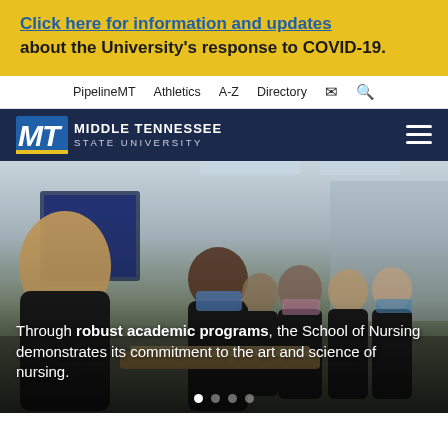Click here for information and updates about the University's response to COVID-19.
PipelineMT   Athletics   A-Z   Directory
[Figure (logo): Middle Tennessee State University logo with MT letters in blue and white text on dark navy background]
[Figure (photo): Nursing students in black scrubs and face masks gathered around a demonstration table in a clinical lab setting, with an instructor facing them]
Through robust academic programs, the School of Nursing demonstrates its commitment to the art and science of nursing.